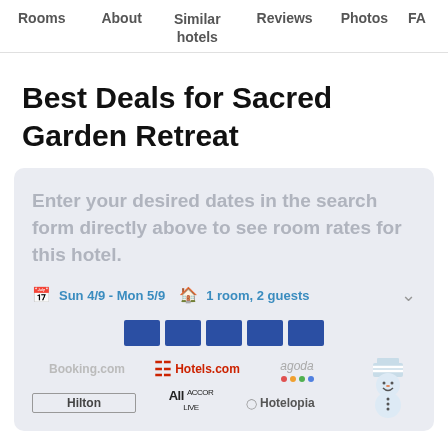Rooms | About | Similar hotels | Reviews | Photos | FA
Best Deals for Sacred Garden Retreat
Enter your desired dates in the search form directly above to see room rates for this hotel.
Sun 4/9 - Mon 5/9   1 room, 2 guests
[Figure (screenshot): Booking partner logos: Booking.com, Hotels.com, agoda, Hilton, All Accor Live, Hotelopia, with a snowman mascot illustration]